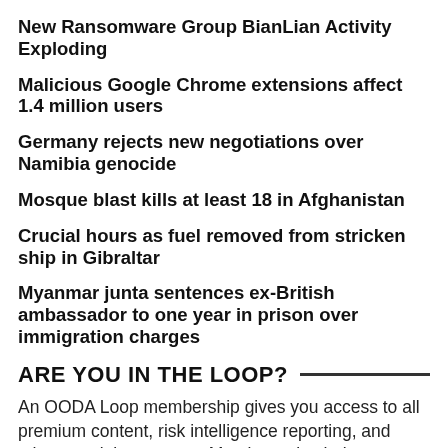New Ransomware Group BianLian Activity Exploding
Malicious Google Chrome extensions affect 1.4 million users
Germany rejects new negotiations over Namibia genocide
Mosque blast kills at least 18 in Afghanistan
Crucial hours as fuel removed from stricken ship in Gibraltar
Myanmar junta sentences ex-British ambassador to one year in prison over immigration charges
ARE YOU IN THE LOOP?
An OODA Loop membership gives you access to all premium content, risk intelligence reporting, and other special resources. Members also help support